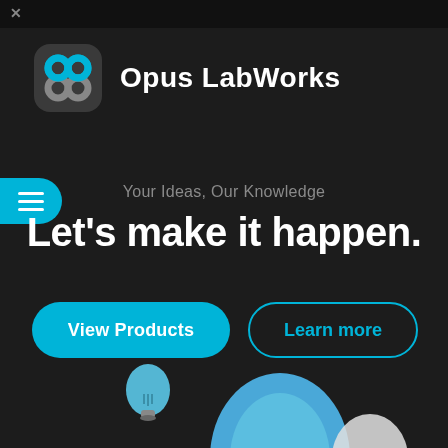[Figure (logo): Opus LabWorks logo: rounded square icon with cyan infinity/loop symbol and text 'Opus LabWorks' in white bold font]
Your Ideas, Our Knowledge
Let's make it happen.
View Products
Learn more
[Figure (illustration): 3D rendered illustration showing a blue lightbulb and a blue/white letter or object at the bottom of the page]